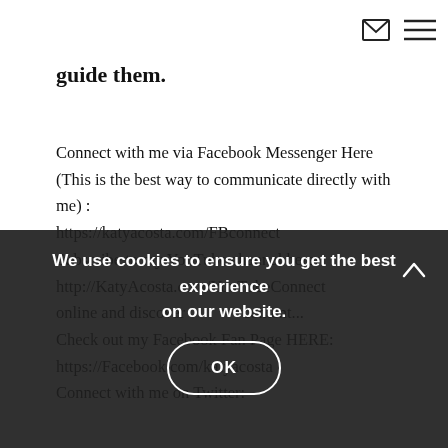[envelope icon] [menu icon]
guide them.
Connect with me via Facebook Messenger Here (This is the best way to communicate directly with me) :
https://katyacosta.com/FBconnect
Subscribe to my YouTube channel here:
http://KatyAcosta.com/YouTubeConnect
online and discover content...
Check out my Facebook Fan Page HERE:
https://Facebook.com/katyacosta
Connect with me on Twitter:
We use cookies to ensure you get the best experience on our website.